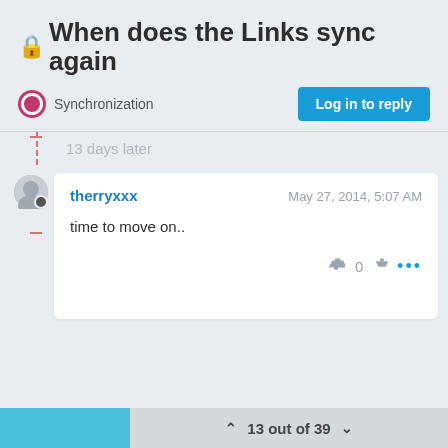🔒When does the Links sync again
Synchronization
Log in to reply
13 days later
therryxxx   May 27, 2014, 5:07 AM
time to move on..
13 out of 39